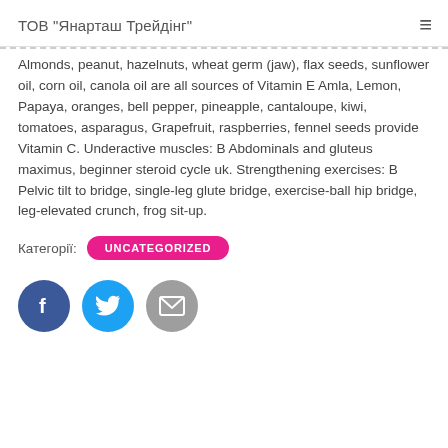ТОВ "Янарташ Трейдінг"
Almonds, peanut, hazelnuts, wheat germ (jaw), flax seeds, sunflower oil, corn oil, canola oil are all sources of Vitamin E Amla, Lemon, Papaya, oranges, bell pepper, pineapple, cantaloupe, kiwi, tomatoes, asparagus, Grapefruit, raspberries, fennel seeds provide Vitamin C. Underactive muscles: B Abdominals and gluteus maximus, beginner steroid cycle uk. Strengthening exercises: B Pelvic tilt to bridge, single-leg glute bridge, exercise-ball hip bridge, leg-elevated crunch, frog sit-up.
Категорії: UNCATEGORIZED
[Figure (other): Social sharing buttons: Facebook (blue circle with f), Twitter (light blue circle with bird), Email (gray circle with envelope)]